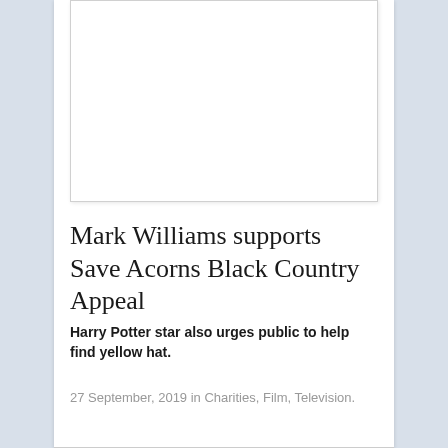[Figure (photo): A photograph placeholder (white box with border) appearing at the top of the article]
Mark Williams supports Save Acorns Black Country Appeal
Harry Potter star also urges public to help find yellow hat.
27 September, 2019 in Charities, Film, Television.